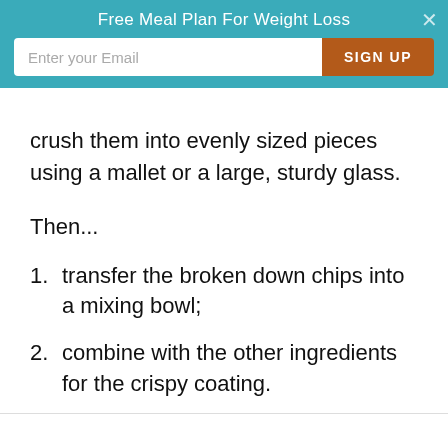Free Meal Plan For Weight Loss
crush them into evenly sized pieces using a mallet or a large, sturdy glass.
Then...
transfer the broken down chips into a mixing bowl;
combine with the other ingredients for the crispy coating.